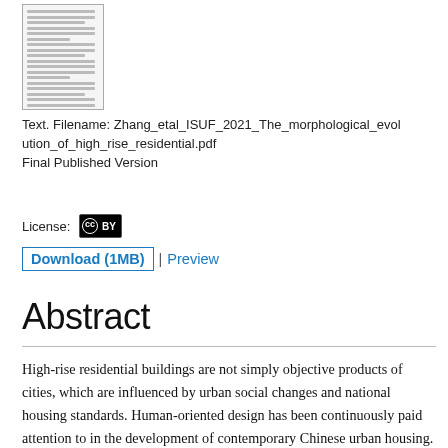[Figure (screenshot): Thumbnail preview of PDF document page]
Text. Filename: Zhang_etal_ISUF_2021_The_morphological_evolution_of_high_rise_residential.pdf
Final Published Version
License: CC BY
Download (1MB) | Preview
Abstract
High-rise residential buildings are not simply objective products of cities, which are influenced by urban social changes and national housing standards. Human-oriented design has been continuously paid attention to in the development of contemporary Chinese urban housing. However, the morphology of high-rise housing in China tends to be in a lack of variety. The paper made a summary of the types of high-rise